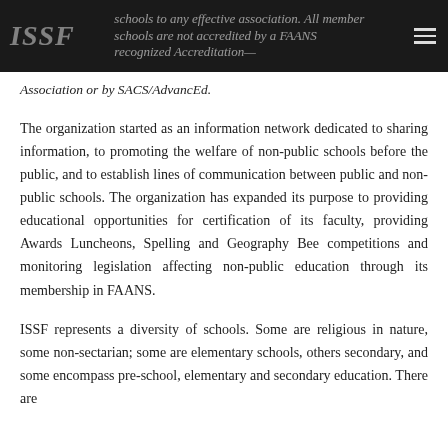ISSF — schools to any effective association. All member schools are not accredited by a FAANS recognized Accreditation Association or by SACS/AdvancEd.
The organization started as an information network dedicated to sharing information, to promoting the welfare of non-public schools before the public, and to establish lines of communication between public and non-public schools. The organization has expanded its purpose to providing educational opportunities for certification of its faculty, providing Awards Luncheons, Spelling and Geography Bee competitions and monitoring legislation affecting non-public education through its membership in FAANS.
ISSF represents a diversity of schools. Some are religious in nature, some non-sectarian; some are elementary schools, others secondary, and some encompass pre-school, elementary and secondary education. There are